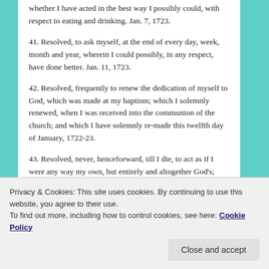whether I have acted in the best way I possibly could, with respect to eating and drinking. Jan. 7, 1723.
41. Resolved, to ask myself, at the end of every day, week, month and year, wherein I could possibly, in any respect, have done better. Jan. 11, 1723.
42. Resolved, frequently to renew the dedication of myself to God, which was made at my baptism; which I solemnly renewed, when I was received into the communion of the church; and which I have solemnly re-made this twelfth day of January, 1722-23.
43. Resolved, never, henceforward, till I die, to act as if I were any way my own, but entirely and altogether God's;
Privacy & Cookies: This site uses cookies. By continuing to use this website, you agree to their use.
To find out more, including how to control cookies, see here: Cookie Policy